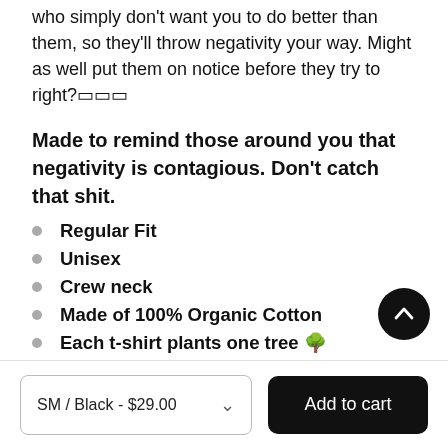who simply don't want you to do better than them, so they'll throw negativity your way. Might as well put them on notice before they try to right?🟥🟥🟥
Made to remind those around you that negativity is contagious. Don't catch that shit.
Regular Fit
Unisex
Crew neck
Made of 100% Organic Cotton
Each t-shirt plants one tree 🌳
SM / Black - $29.00
Add to cart